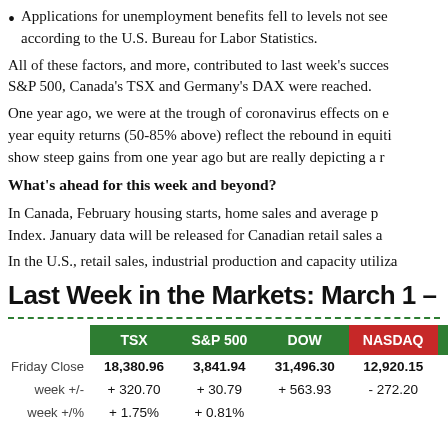Applications for unemployment benefits fell to levels not seen…according to the U.S. Bureau for Labor Statistics.
All of these factors, and more, contributed to last week's success…S&P 500, Canada's TSX and Germany's DAX were reached.
One year ago, we were at the trough of coronavirus effects on e…year equity returns (50-85% above) reflect the rebound in equiti…show steep gains from one year ago but are really depicting a r…
What's ahead for this week and beyond?
In Canada, February housing starts, home sales and average p…Index. January data will be released for Canadian retail sales a…
In the U.S., retail sales, industrial production and capacity utiliza…
Last Week in the Markets: March 1 –
|  | TSX | S&P 500 | DOW | NASDAQ |  |
| --- | --- | --- | --- | --- | --- |
| Friday Close | 18,380.96 | 3,841.94 | 31,496.30 | 12,920.15 |  |
| week +/- | + 320.70 | + 30.79 | + 563.93 | - 272.20 |  |
| week +/% | + 1.75% | + 0.81% |  |  |  |